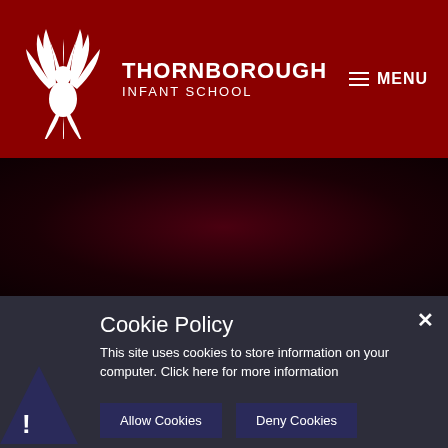[Figure (logo): Thornborough Infant School logo with white phoenix bird on dark red background, with school name THORNBOROUGH INFANT SCHOOL in white text and hamburger menu icon with MENU text]
[Figure (photo): Dark reddish-black background band, possibly a hero image area]
Cookie Policy
This site uses cookies to store information on your computer. Click here for more information
Allow Cookies   Deny Cookies